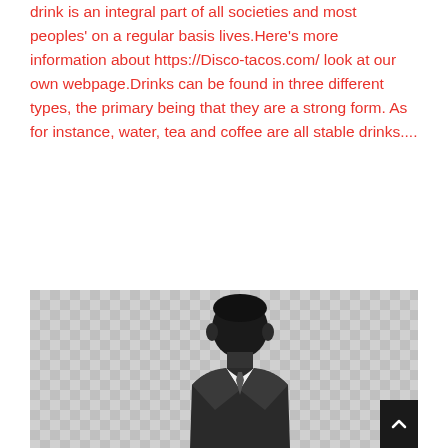drink is an integral part of all societies and most peoples' on a regular basis lives.Here's more information about https://Disco-tacos.com/ look at our own webpage.Drinks can be found in three different types, the primary being that they are a strong form. As for instance, water, tea and coffee are all stable drinks....
Read More
[Figure (photo): A man in a suit on a checkered/transparent background, visible from shoulders up, with dark hair, positioned in lower portion of the page.]